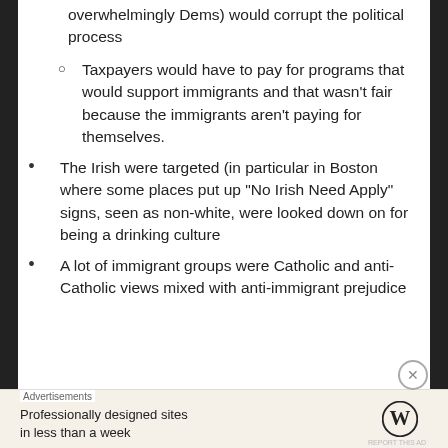overwhelmingly Dems) would corrupt the political process
Taxpayers would have to pay for programs that would support immigrants and that wasn't fair because the immigrants aren't paying for themselves.
The Irish were targeted (in particular in Boston where some places put up “No Irish Need Apply” signs, seen as non-white, were looked down on for being a drinking culture
A lot of immigrant groups were Catholic and anti-Catholic views mixed with anti-immigrant prejudice
Advertisements
Professionally designed sites in less than a week